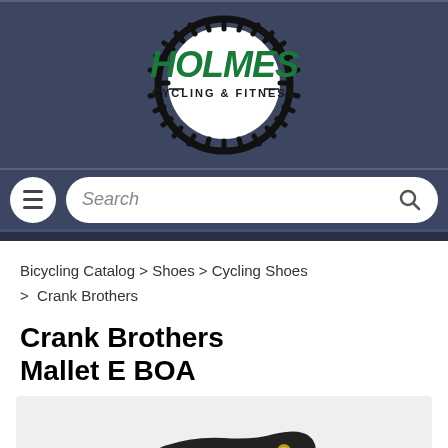[Figure (logo): Holmes Cycling & Fitness logo — green text on dark header background with circular tire-tread border]
[Figure (screenshot): Search bar with hamburger menu button on left and magnifying glass icon on right, on dark blue-grey background]
Bicycling Catalog > Shoes > Cycling Shoes > Crank Brothers
Crank Brothers Mallet E BOA
[Figure (photo): Partial view of a dark/black Crank Brothers Mallet E BOA cycling shoe against a light grey background]